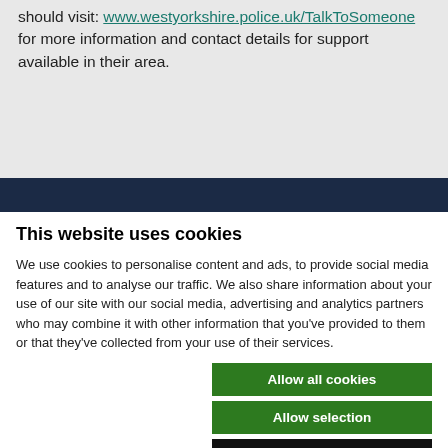Anyone concerned about their or someone else's behaviour should visit: www.westyorkshire.police.uk/TalkToSomeone for more information and contact details for support available in their area.
This website uses cookies
We use cookies to personalise content and ads, to provide social media features and to analyse our traffic. We also share information about your use of our site with our social media, advertising and analytics partners who may combine it with other information that you've provided to them or that they've collected from your use of their services.
Allow all cookies
Allow selection
Use necessary cookies only
Necessary  Preferences  Statistics  Marketing  Show details